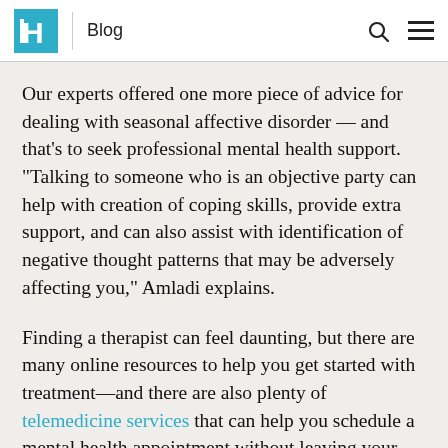Blog
Our experts offered one more piece of advice for dealing with seasonal affective disorder — and that's to seek professional mental health support. “Talking to someone who is an objective party can help with creation of coping skills, provide extra support, and can also assist with identification of negative thought patterns that may be adversely affecting you,” Amladi explains.
Finding a therapist can feel daunting, but there are many online resources to help you get started with treatment—and there are also plenty of telemedicine services that can help you schedule a mental health appointment without leaving your house. “With the expansion of telemedicine, it’s possible to find a therapist online if you don’t feel comfortable going to an office,” says Amladi. “And you can